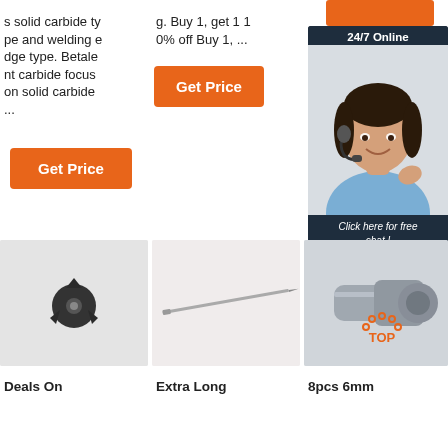s solid carbide type and welding edge type. Betalent carbide focus on solid carbide ...
[Figure (other): Orange rectangular button placeholder at top right]
g. Buy 1, get 1 10% off Buy 1, ...
[Figure (other): Get Price orange button (middle column)]
[Figure (other): Get Price orange button (left column)]
[Figure (other): 24/7 Online customer service sidebar with photo, 'Click here for free chat!' and QUOTATION button]
[Figure (photo): Small dark carbide drill bit or milling cutter against light background]
[Figure (photo): Extra long thin tool (drill bit or needle) against light pink/white background]
[Figure (photo): 8pcs 6mm tool set with TOP badge overlay]
Deals On
Extra Long
8pcs 6mm